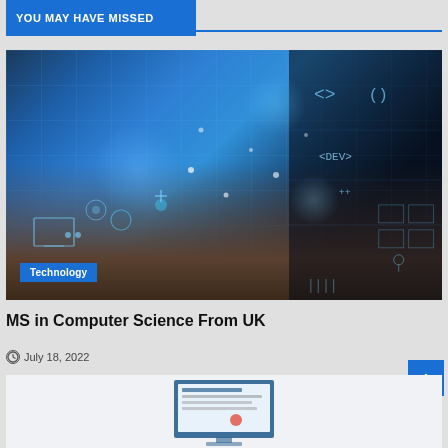YOU MAY HAVE MISSED
[Figure (photo): Person typing on a laptop with futuristic digital technology interface overlays, glowing blue UI elements, code symbols including <DEV> and ++, circuit-like grid patterns, on a dark background. Technology category tag shown at bottom left.]
MS in Computer Science From UK
July 18, 2022
[Figure (screenshot): Partial view of a website or application screenshot, showing monitor/screen graphic at bottom of page.]